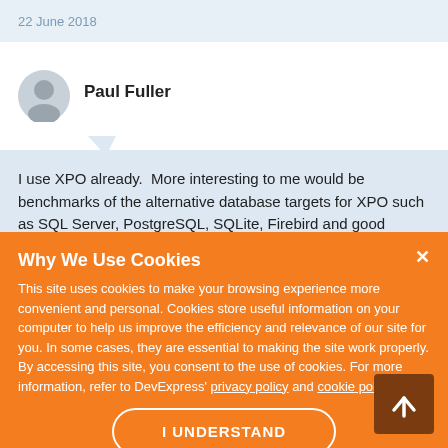22 June 2018
Paul Fuller
I use XPO already.  More interesting to me would be benchmarks of the alternative database targets for XPO such as SQL Server, PostgreSQL, SQLite, Firebird and good
Why We Use Cookies
This site uses cookies to make your browsing experience more convenient and personal. Cookies store useful information on your computer to help us improve the efficiency and relevance of our site for you. In some cases, they are essential to making the site work properly. By accessing this site, you consent to the use of cookies. For more information, refer to DevExpress' privacy policy and cookie policy.
I UNDERSTAND